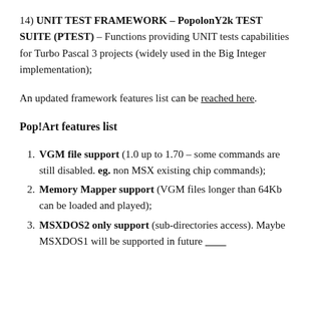14) UNIT TEST FRAMEWORK – PopolonY2k TEST SUITE (PTEST) – Functions providing UNIT tests capabilities for Turbo Pascal 3 projects (widely used in the Big Integer implementation);
An updated framework features list can be reached here.
Pop!Art features list
VGM file support (1.0 up to 1.70 – some commands are still disabled. eg. non MSX existing chip commands);
Memory Mapper support (VGM files longer than 64Kb can be loaded and played);
MSXDOS2 only support (sub-directories access). Maybe MSXDOS1 will be supported in future releases;